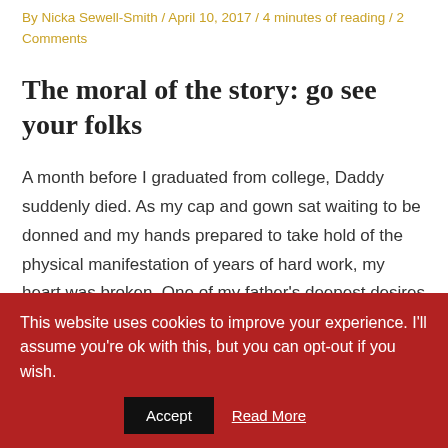By Nicka Sewell-Smith / April 10, 2017 / 4 minutes of reading / 2 Comments
The moral of the story: go see your folks
A month before I graduated from college, Daddy suddenly died. As my cap and gown sat waiting to be donned and my hands prepared to take hold of the physical manifestation of years of hard work, my heart was broken. One of my father’s deepest desires was to see me walk across that stage in Atherton, CA, and every time we talked, he’d always say “I’m just trying to live to see you graduate.” He couldn’t hold on just 33 more days.
This website uses cookies to improve your experience. I’ll assume you’re ok with this, but you can opt-out if you wish.
Accept
Read More